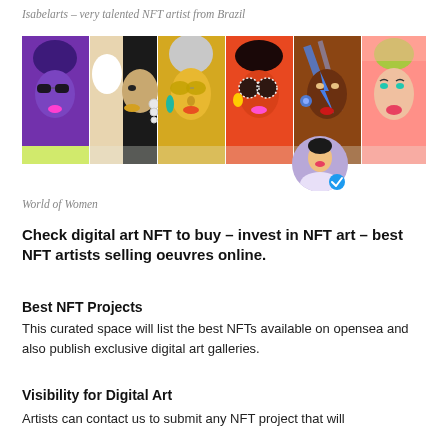Isabelarts – very talented NFT artist from Brazil
[Figure (illustration): A banner of six colorful illustrated portrait artworks of women with various styles and colors, with a circular avatar icon overlapping the bottom-right area showing a verified badge.]
World of Women
Check digital art NFT to buy – invest in NFT art – best NFT artists selling oeuvres online.
Best NFT Projects
This curated space will list the best NFTs available on opensea and also publish exclusive digital art galleries.
Visibility for Digital Art
Artists can contact us to submit any NFT project that will